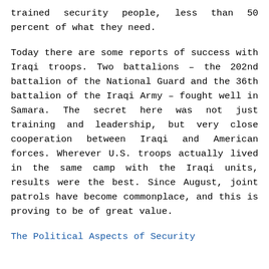trained security people, less than 50 percent of what they need.
Today there are some reports of success with Iraqi troops. Two battalions – the 202nd battalion of the National Guard and the 36th battalion of the Iraqi Army – fought well in Samara. The secret here was not just training and leadership, but very close cooperation between Iraqi and American forces. Wherever U.S. troops actually lived in the same camp with the Iraqi units, results were the best. Since August, joint patrols have become commonplace, and this is proving to be of great value.
The Political Aspects of Security